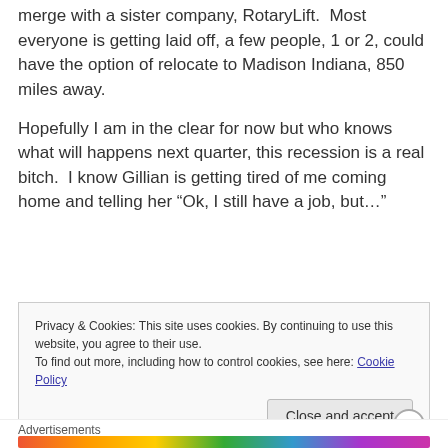merge with a sister company, RotaryLift.  Most everyone is getting laid off, a few people, 1 or 2, could have the option of relocate to Madison Indiana, 850 miles away.
Hopefully I am in the clear for now but who knows what will happens next quarter, this recession is a real bitch.  I know Gillian is getting tired of me coming home and telling her “Ok, I still have a job, but…”
Privacy & Cookies: This site uses cookies. By continuing to use this website, you agree to their use.
To find out more, including how to control cookies, see here: Cookie Policy
Close and accept
Advertisements